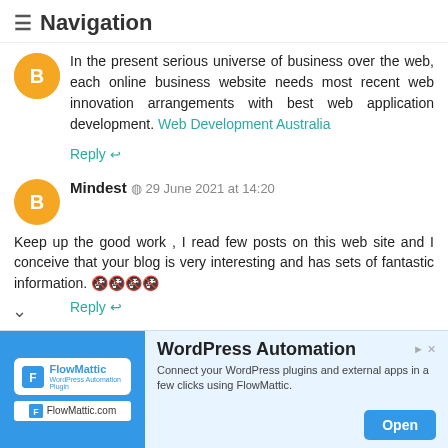≡ Navigation
In the present serious universe of business over the web, each online business website needs most recent web innovation arrangements with best web application development. Web Development Australia
Reply ↩
Mindest  ⊙ 29 June 2021 at 14:20
Keep up the good work , I read few posts on this web site and I conceive that your blog is very interesting and has sets of fantastic information. 🔲🔲🔲🔲
Reply ↩
Uzair syed  ⊙ 29 June 2021 at 14:32
You ought to basically fantastic not to mention solid
[Figure (infographic): Advertisement banner for FlowMattic WordPress Automation plugin. Blue left panel with FlowMattic logo and FlowMattic.com branding. Right panel with title 'WordPress Automation', description 'Connect your WordPress plugins and external apps in a few clicks using FlowMattic.', and blue Open button. Small ad arrow in top right.]